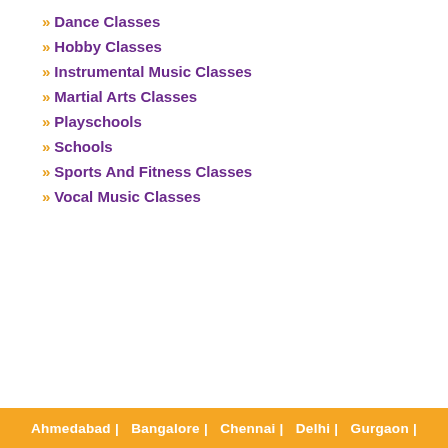» Dance Classes
» Hobby Classes
» Instrumental Music Classes
» Martial Arts Classes
» Playschools
» Schools
» Sports And Fitness Classes
» Vocal Music Classes
Ahmedabad |   Bangalore |   Chennai |   Delhi |   Gurgaon |